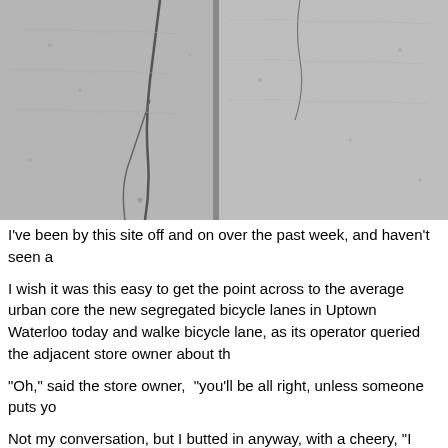[Figure (photo): Close-up photograph of cracked concrete pavement showing large fracture lines running diagonally across the surface.]
I've been by this site off and on over the past week, and haven't seen a
I wish it was this easy to get the point across to the average urban core the new segregated bicycle lanes in Uptown Waterloo today and walke bicycle lane, as its operator queried the adjacent store owner about th
"Oh," said the store owner,  "you'll be all right, unless someone puts yo
Not my conversation, but I butted in anyway, with a cheery, "I happen to (Although I didn't.)
To the store-owner's grunted comment about "cyclists", I replied, "Well
And it occurred to me later, the obvious solution to a motorist wanting t